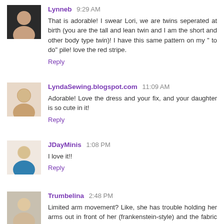[Figure (photo): Avatar photo of Lynneb]
Lynneb 9:29 AM
That is adorable! I swear Lori, we are twins seperated at birth (you are the tall and lean twin and I am the short and other body type twin)! I have this same pattern on my " to do" pile! love the red stripe.
Reply
[Figure (photo): Avatar photo of LyndaSewing.blogspot.com]
LyndaSewing.blogspot.com 11:09 AM
Adorable! Love the dress and your fix, and your daughter is so cute in it!
Reply
[Figure (photo): Avatar photo of JDayMinis]
JDayMinis 1:08 PM
I love it!!
Reply
[Figure (photo): Avatar photo of Trumbelina]
Trumbelina 2:48 PM
Limited arm movement? Like, she has trouble holding her arms out in front of her (frankenstein-style) and the fabric binds on the